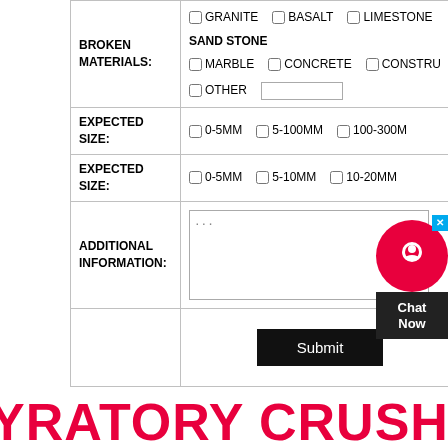| Field | Options |
| --- | --- |
| BROKEN MATERIALS: | GRANITE  BASALT  LIMESTONE
SAND STONE
MARBLE  CONCRETE  CONSTRU...
OTHER [text input] |
| EXPECTED SIZE: | 0-5MM  5-100MM  100-300MM |
| EXPECTED SIZE: | 0-5MM  5-10MM  10-20MM |
| ADDITIONAL INFORMATION: | ... [textarea] |
|  | Submit |
YRATORY CRUSHER